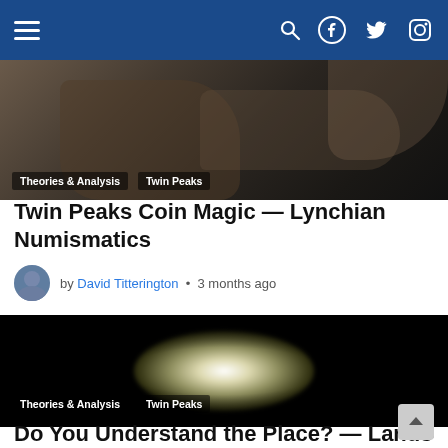Navigation bar with hamburger menu, search, Facebook, Twitter, Instagram icons
[Figure (photo): Dark close-up photo of a person in a leather jacket, partially lit]
Theories & Analysis   Twin Peaks
Twin Peaks Coin Magic — Lynchian Numismatics
by David Titterington • 3 months ago
[Figure (photo): Night scene with spotlight or bright light illuminating a small area in total darkness, vignette effect]
Theories & Analysis   Twin Peaks
Do You Understand the Place? — Landscaping